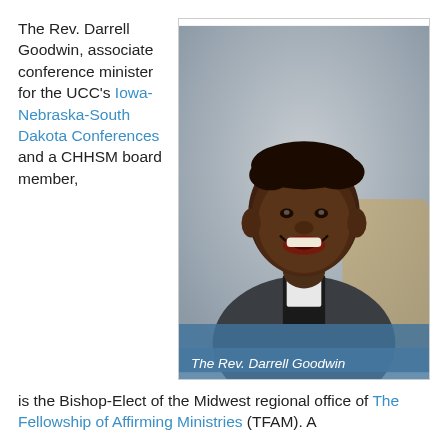The Rev. Darrell Goodwin, associate conference minister for the UCC's Iowa-Nebraska-South Dakota Conferences and a CHHSM board member,
[Figure (photo): Portrait photograph of The Rev. Darrell Goodwin, a smiling man in a gray suit with a clerical collar, seated in front of a light gray background.]
The Rev. Darrell Goodwin
is the Bishop-Elect of the Midwest regional office of The Fellowship of Affirming Ministries (TFAM). A